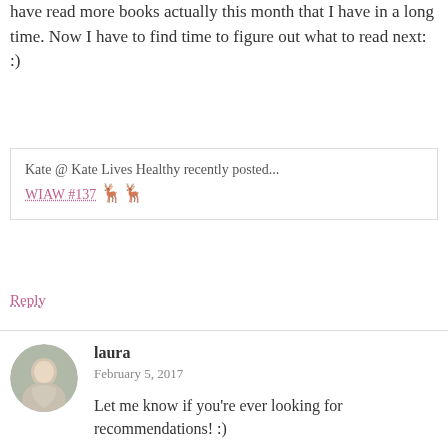have read more books actually this month that I have in a long time. Now I have to find time to figure out what to read next: :)
Kate @ Kate Lives Healthy recently posted...
WIAW #137 🦅
Reply
laura
February 5, 2017
Let me know if you're ever looking for recommendations! :)
Reply
Kate @ Kate Lives Healthy
February 5, 2017
Always up for recommendations! Need to look up the titles on your recent post.